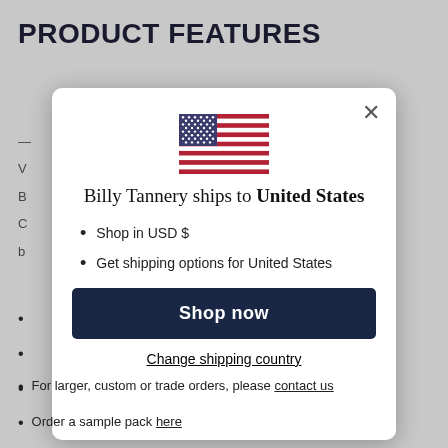PRODUCT FEATURES
[Figure (screenshot): Modal dialog with US flag showing Billy Tannery ships to United States, shop in USD $, get shipping options for United States, Shop now button, and Change shipping country link]
For larger, custom or trade orders, please contact us
Order a sample pack here